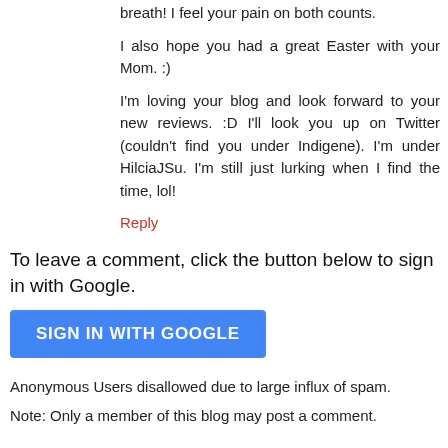breath! I feel your pain on both counts.
I also hope you had a great Easter with your Mom. :)
I'm loving your blog and look forward to your new reviews. :D I'll look you up on Twitter (couldn't find you under Indigene). I'm under HilciaJSu. I'm still just lurking when I find the time, lol!
Reply
To leave a comment, click the button below to sign in with Google.
[Figure (other): SIGN IN WITH GOOGLE button]
Anonymous Users disallowed due to large influx of spam.
Note: Only a member of this blog may post a comment.